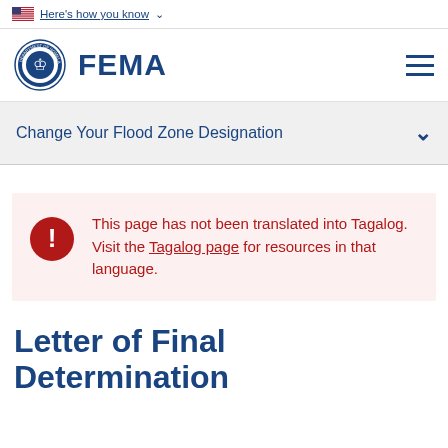Here's how you know
[Figure (logo): FEMA logo with DHS seal and FEMA wordmark]
Change Your Flood Zone Designation
This page has not been translated into Tagalog. Visit the Tagalog page for resources in that language.
Letter of Final Determination